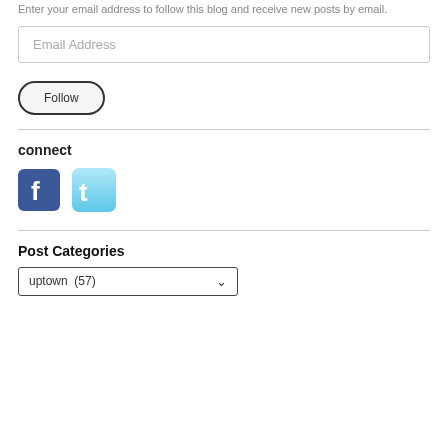Enter your email address to follow this blog and receive new posts by email.
Email Address
Follow
connect
[Figure (logo): Facebook logo icon (blue rounded square with white F)]
[Figure (logo): Twitter logo icon (light blue rounded square with white bird/t)]
Post Categories
uptown  (57)